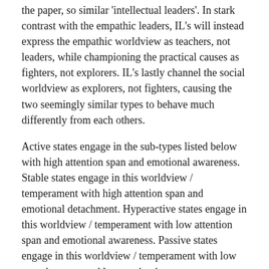the paper, so similar 'intellectual leaders'. In stark contrast with the empathic leaders, IL's will instead express the empathic worldview as teachers, not leaders, while championing the practical causes as fighters, not explorers. IL's lastly channel the social worldview as explorers, not fighters, causing the two seemingly similar types to behave much differently from each others.
Active states engage in the sub-types listed below with high attention span and emotional awareness. Stable states engage in this worldview / temperament with high attention span and emotional detachment. Hyperactive states engage in this worldview / temperament with low attention span and emotional awareness. Passive states engage in this worldview / temperament with low attention span and low motivation.